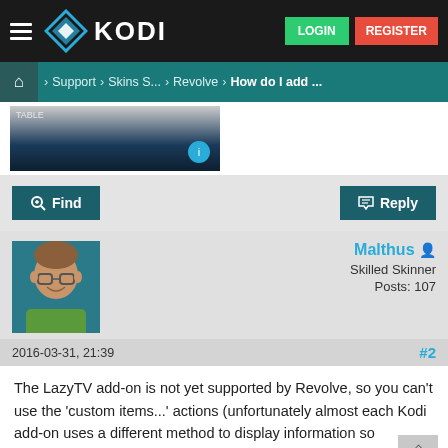KODI — LOGIN | REGISTER
Home > Support > Skins S... > Revolve > How do I add ...
[Figure (screenshot): Partial screenshot of a Kodi interface showing a media list]
Find   Reply
Malthus
Skilled Skinner
Posts: 107
2016-03-31, 21:39   #2
The LazyTV add-on is not yet supported by Revolve, so you can't use the 'custom items...' actions (unfortunately almost each Kodi add-on uses a different method to display information so supporting